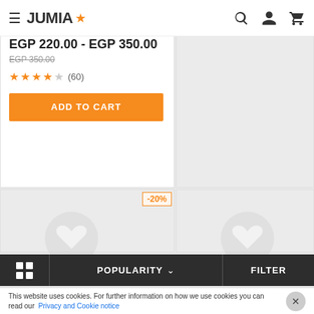JUMIA
Casual -woman Solid Tall Shirt Cotton Light -white
EGP 220.00 - EGP 350.00
EGP 350.00
(60)
ADD TO CART
-20%
POPULARITY  FILTER
This website uses cookies. For further information on how we use cookies you can read our Privacy and Cookie notice